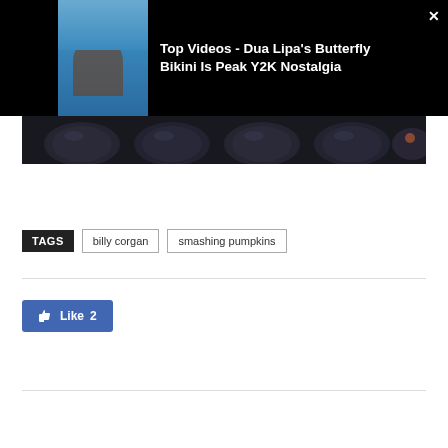[Figure (screenshot): Video overlay with thumbnail of woman in pool/bikini on left; dark background with close X button on top right]
Top Videos - Dua Lipa's Butterfly Bikini Is Peak Y2K Nostalgia
[Figure (screenshot): Dark image strip showing what appears to be dark rounded objects (helmets or similar) in a row]
TAGS  billy corgan  smashing pumpkins
Like 2